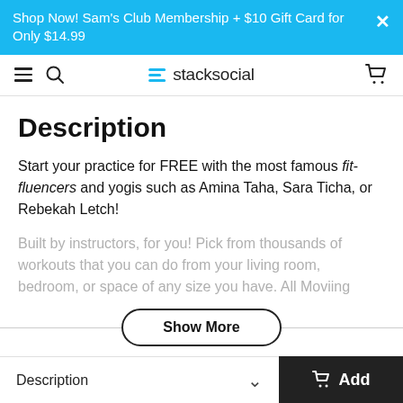Shop Now! Sam's Club Membership + $10 Gift Card for Only $14.99
[Figure (screenshot): StackSocial navigation bar with hamburger menu, search icon, logo, and cart icon]
Description
Start your practice for FREE with the most famous fit-fluencers and yogis such as Amina Taha, Sara Ticha, or Rebekah Letch!
Built by instructors, for you! Pick from thousands of workouts that you can do from your living room, bedroom, or space of any size you have. All Moviing
Description   Add